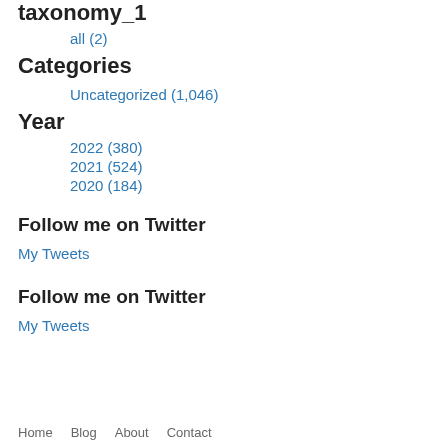taxonomy_1
all (2)
Categories
Uncategorized (1,046)
Year
2022 (380)
2021 (524)
2020 (184)
Follow me on Twitter
My Tweets
Follow me on Twitter
My Tweets
Home   Blog   About   Contact